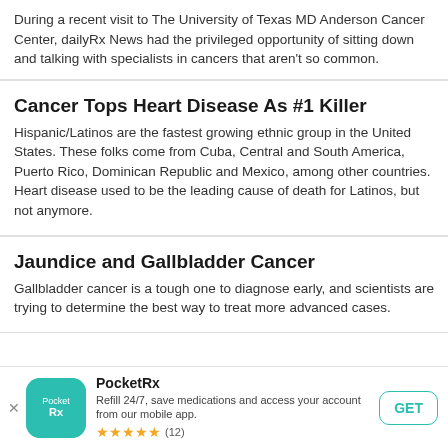During a recent visit to The University of Texas MD Anderson Cancer Center, dailyRx News had the privileged opportunity of sitting down and talking with specialists in cancers that aren't so common.
Cancer Tops Heart Disease As #1 Killer
Hispanic/Latinos are the fastest growing ethnic group in the United States. These folks come from Cuba, Central and South America, Puerto Rico, Dominican Republic and Mexico, among other countries. Heart disease used to be the leading cause of death for Latinos, but not anymore.
Jaundice and Gallbladder Cancer
Gallbladder cancer is a tough one to diagnose early, and scientists are trying to determine the best way to treat more advanced cases.
[Figure (other): PocketRx app advertisement banner with teal app icon, app name, description, star rating (12 reviews), and GET button]